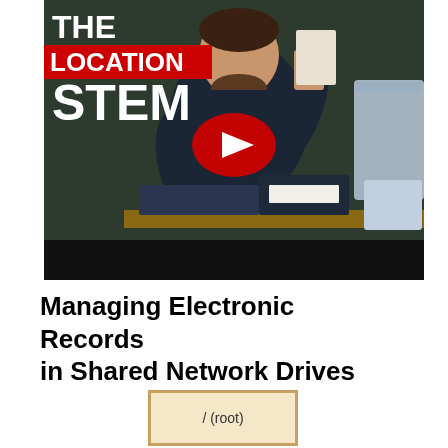[Figure (screenshot): YouTube video thumbnail showing a man with storage boxes and text 'THE LOCATION SYSTEM' with a red YouTube play button overlay]
Managing Electronic Records in Shared Network Drives
[Figure (illustration): A folder/box diagram labeled '/ (root)' with a tan/beige border representing a root directory node]